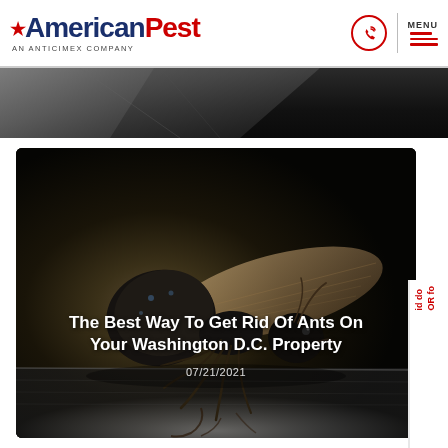American Pest - An Anticimex Company
[Figure (photo): Partial top image strip showing dark background with stone/slate texture]
[Figure (photo): Close-up macro photo of a black carpenter ant with wings on a wooden surface. Overlaid text reads: The Best Way To Get Rid Of Ants On Your Washington D.C. Property, dated 07/21/2021]